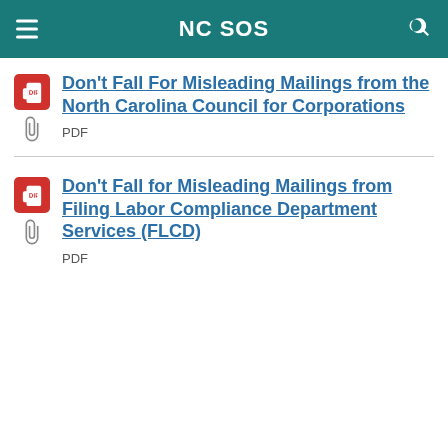NC SOS
Don't Fall For Misleading Mailings from the North Carolina Council for Corporations
PDF
Don't Fall for Misleading Mailings from Filing Labor Compliance Department Services (FLCD)
PDF